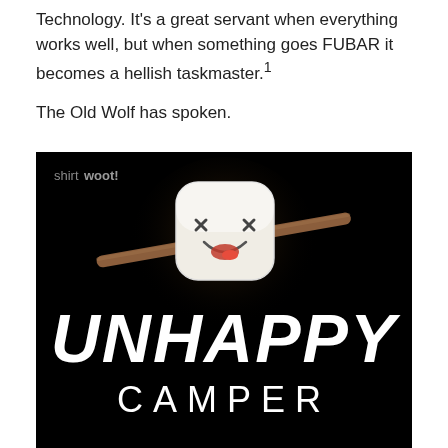Technology. It's a great servant when everything works well, but when something goes FUBAR it becomes a hellish taskmaster.¹
The Old Wolf has spoken.
[Figure (illustration): Black background illustration with a distressed marshmallow impaled on a stick, with X eyes and open mouth. Below it reads 'UNHAPPY' in large italic white script and 'CAMPER' in spaced white capital letters. Top left shows 'shirt woot!' logo in grey. A dotted halftone glow surrounds the marshmallow.]